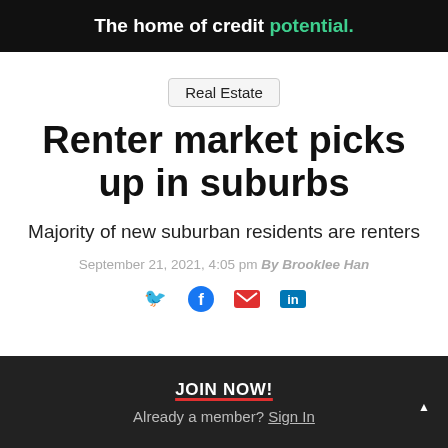The home of credit potential.
Real Estate
Renter market picks up in suburbs
Majority of new suburban residents are renters
September 21, 2021, 4:05 pm By Brooklee Han
[Figure (other): Social share icons: Twitter, Facebook, Email, LinkedIn]
JOIN NOW!
Already a member? Sign In